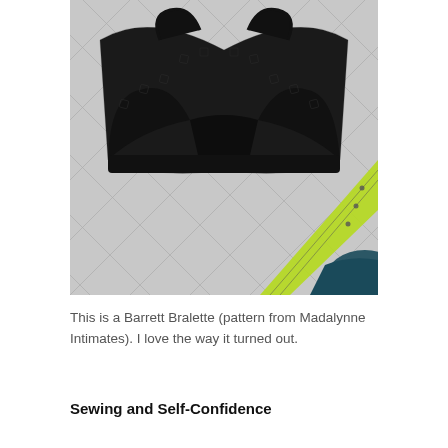[Figure (photo): A black lace-patterned bralette laid on a silver quilted fabric surface, with a yellow-green quilting ruler and dark teal fabric visible in the lower right corner.]
This is a Barrett Bralette (pattern from Madalynne Intimates).  I love the way it turned out.
Sewing and Self-Confidence